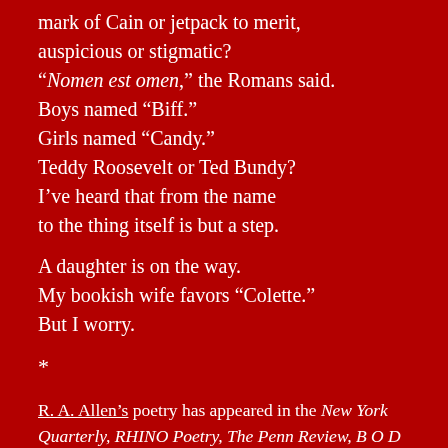mark of Cain or jetpack to merit,
auspicious or stigmatic?
“Nomen est omen,” the Romans said.
Boys named “Biff.”
Girls named “Candy.”
Teddy Roosevelt or Ted Bundy?
I’ve heard that from the name
to the thing itself is but a step.

A daughter is on the way.
My bookish wife favors “Colette.”
But I worry.

*
R. A. Allen’s poetry has appeared in the New York Quarterly, RHINO Poetry, The Penn Review, B O D Y, The Hollins Critic, Northampton Poetry Review, and elsewhere.